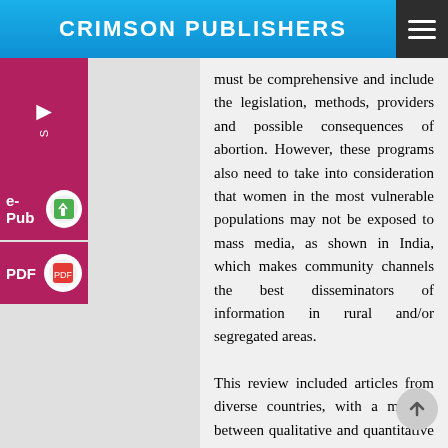CRIMSON PUBLISHERS
must be comprehensive and include the legislation, methods, providers and possible consequences of abortion. However, these programs also need to take into consideration that women in the most vulnerable populations may not be exposed to mass media, as shown in India, which makes community channels the best disseminators of information in rural and/or segregated areas.

This review included articles from diverse countries, with a mixture between qualitative and quantitative studies, which gives a broad perspective on the situation